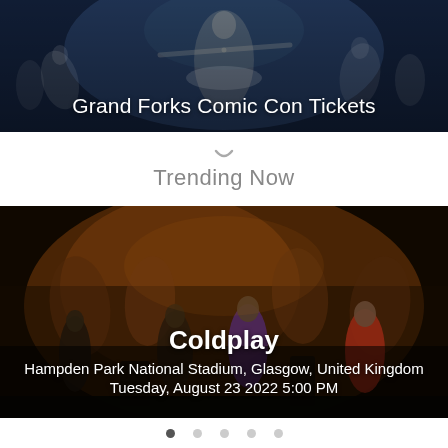[Figure (photo): Ballet dancers on stage with dark blue/teal background, featuring a central ballerina in white tutu with arms extended]
Grand Forks Comic Con Tickets
Trending Now
[Figure (photo): Concert photo of Coldplay performing on stage, dark warm-toned background with band members visible]
Coldplay
Hampden Park National Stadium, Glasgow, United Kingdom
Tuesday, August 23 2022 5:00 PM